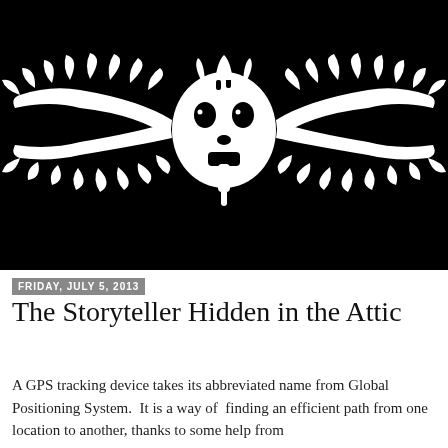[Figure (illustration): Black and white illustration of a winged skull-like face or mask with large spread wings, rendered in a bold graphic style on a black background.]
Friday, July 5, 2013
The Storyteller Hidden in the Attic
A GPS tracking device takes its abbreviated name from Global Positioning System.  It is a way of  finding an efficient path from one location to another, thanks to some help from